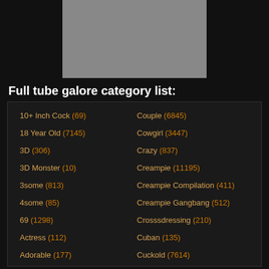[Figure (photo): Thumbnail image centered at top of page, showing blurred adult content]
Full tube galore category list:
10+ Inch Cock (69)
Couple (6845)
18 Year Old (7145)
Cowgirl (3447)
3D (306)
Crazy (837)
3D Monster (10)
Creampie (11195)
3some (813)
Creampie Compilation (411)
4some (85)
Creampie Gangbang (512)
69 (1298)
Crosssdressing (210)
Actress (112)
Cuban (135)
Adorable (177)
Cuckold (7614)